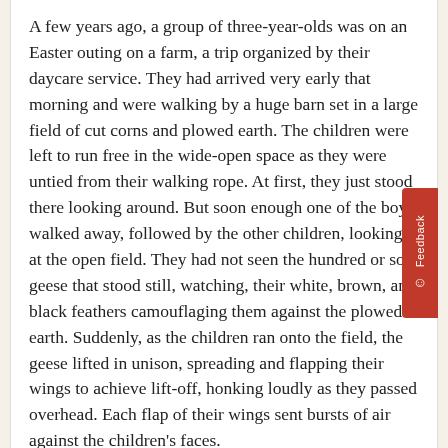A few years ago, a group of three-year-olds was on an Easter outing on a farm, a trip organized by their daycare service. They had arrived very early that morning and were walking by a huge barn set in a large field of cut corns and plowed earth. The children were left to run free in the wide-open space as they were untied from their walking rope. At first, they just stood there looking around. But soon enough one of the boys walked away, followed by the other children, looking at the open field. They had not seen the hundred or so geese that stood still, watching, their white, brown, and black feathers camouflaging them against the plowed earth. Suddenly, as the children ran onto the field, the geese lifted in unison, spreading and flapping their wings to achieve lift-off, honking loudly as they passed overhead. Each flap of their wings sent bursts of air against the children's faces.